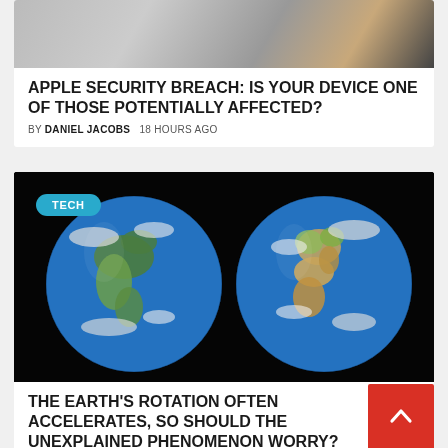[Figure (photo): Hand holding an iPhone with colorful app icons visible, close-up photo]
APPLE SECURITY BREACH: IS YOUR DEVICE ONE OF THOSE POTENTIALLY AFFECTED?
BY DANIEL JACOBS   18 HOURS AGO
[Figure (photo): Two views of the Earth globe against a black background, showing the Americas on the left and Europe/Africa on the right. A teal 'TECH' badge overlays the top-left corner.]
THE EARTH'S ROTATION OFTEN ACCELERATES, SO SHOULD THE UNEXPLAINED PHENOMENON WORRY?